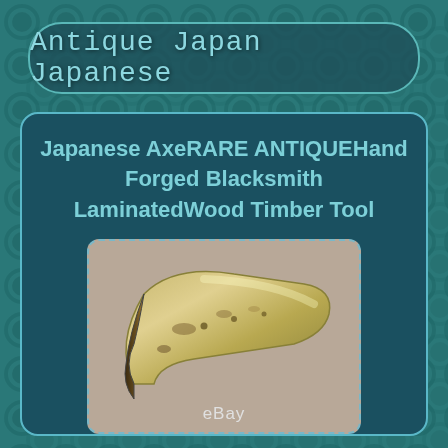Antique Japan Japanese
Japanese AxeRARE ANTIQUEHand Forged Blacksmith LaminatedWood Timber Tool
[Figure (photo): Photo of an antique Japanese hand-forged blacksmith axe head (laminated wood timber tool) placed on a gray/mauve fabric background. The axe blade is curved and shows patina/age marks. An eBay watermark appears at the bottom of the image.]